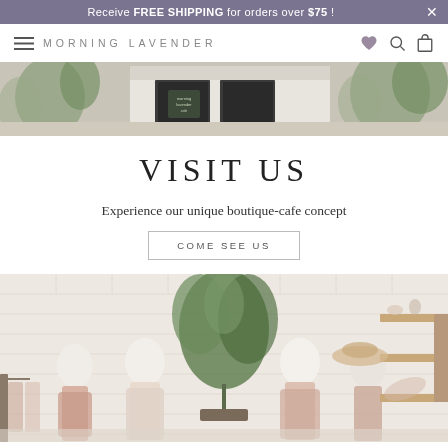Receive FREE SHIPPING for orders over $75 !
[Figure (logo): Morning Lavender boutique logo with hamburger menu and heart, search, cart icons]
[Figure (photo): Exterior storefront photo of Morning Lavender boutique with greenery and signage]
VISIT US
Experience our unique boutique-cafe concept
COME SEE US
[Figure (photo): Interior boutique photo showing dress mannequins with pink/blush clothing, plants, and wooden shelf with accessories]